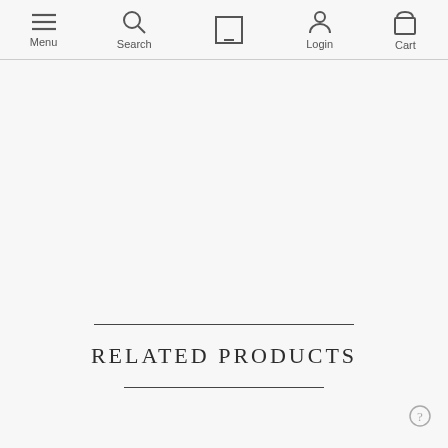Menu Search Login Cart
RELATED PRODUCTS